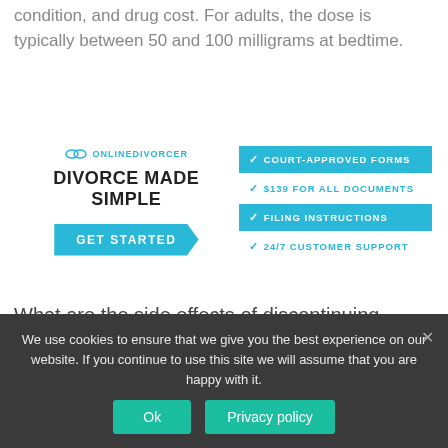condition, and drug cost. For adults, the dose is typically between 50 and 100 milligrams at bedtime.
[Figure (infographic): OnlineDivorcer advertisement banner: 'DIVORCE MADE SIMPLE' with GET STARTED button and checklist: COURT-APPROVED FORMS, $139 FOR ALL DOCUMENTS, FILING INSTRUCTIONS, 24/7 CUSTOMER SUPPORT]
What are the side effects of discontinuing nortriptyline?
Diarrhea: Those taking the drug may experience constipation as a side effect, and upon discontinuation, a person may end up with diarrhea.
We use cookies to ensure that we give you the best experience on our website. If you continue to use this site we will assume that you are happy with it.